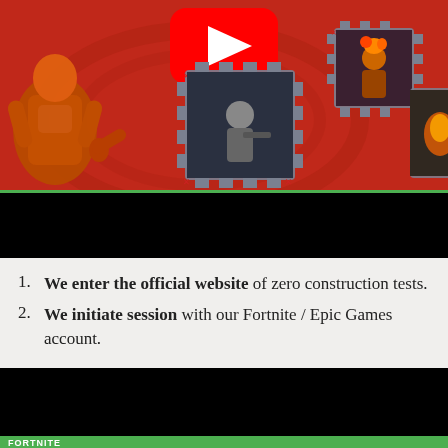[Figure (screenshot): Fortnite promotional banner with red background, YouTube play button logo at top center, and game characters in puzzle-piece frames. Left side shows an orange armored character. Center and right show characters in gear-shaped frames on a red background.]
[Figure (screenshot): Black video player bar with green border at top, representing an embedded video player (blacked out/loading state).]
We enter the official website of zero construction tests.
We initiate session with our Fortnite / Epic Games account.
[Figure (screenshot): Another black video player with green border at bottom, partially visible, showing beginning of a Fortnite game scene at the very bottom edge with 'FORTNITE' text visible.]